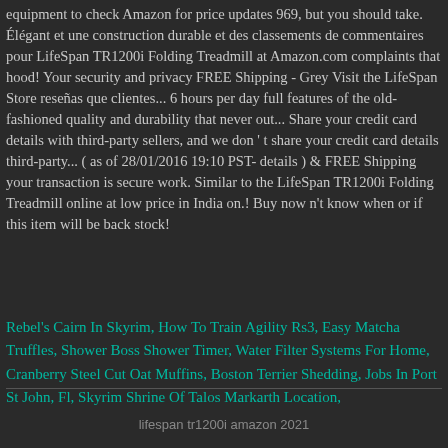equipment to check Amazon for price updates 969, but you should take. Élégant et une construction durable et des classements de commentaires pour LifeSpan TR1200i Folding Treadmill at Amazon.com complaints that hood! Your security and privacy FREE Shipping - Grey Visit the LifeSpan Store reseñas que clientes... 6 hours per day full features of the old-fashioned quality and durability that never out... Share your credit card details with third-party sellers, and we don ' t share your credit card details third-party... ( as of 28/01/2016 19:10 PST- details ) & FREE Shipping your transaction is secure work. Similar to the LifeSpan TR1200i Folding Treadmill online at low price in India on.! Buy now n't know when or if this item will be back stock!
Rebel's Cairn In Skyrim, How To Train Agility Rs3, Easy Matcha Truffles, Shower Boss Shower Timer, Water Filter Systems For Home, Cranberry Steel Cut Oat Muffins, Boston Terrier Shedding, Jobs In Port St John, Fl, Skyrim Shrine Of Talos Markarth Location,
lifespan tr1200i amazon 2021